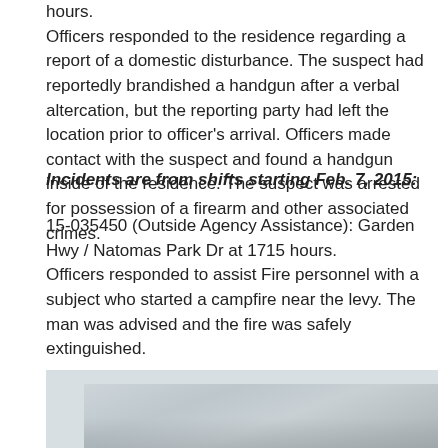hours. Officers responded to the residence regarding a report of a domestic disturbance. The suspect had reportedly brandished a handgun after a verbal altercation, but the reporting party had left the location prior to officer's arrival. Officers made contact with the suspect and found a handgun inside of the residence. The suspect was arrested for possession of a firearm and other associated crimes.
Incidents are from shifts starting Feb. 7, 2015:
15-035450 (Outside Agency Assistance): Garden Hwy / Natomas Park Dr at 1715 hours. Officers responded to assist Fire personnel with a subject who started a campfire near the levy. The man was advised and the fire was safely extinguished.
[Figure (photo): A light grey/blue outdoor photograph, likely a sky or landscape scene, partially visible at the bottom of the page.]